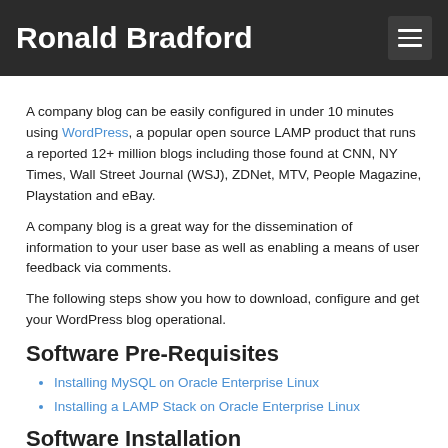Ronald Bradford
A company blog can be easily configured in under 10 minutes using WordPress, a popular open source LAMP product that runs a reported 12+ million blogs including those found at CNN, NY Times, Wall Street Journal (WSJ), ZDNet, MTV, People Magazine, Playstation and eBay.
A company blog is a great way for the dissemination of information to your user base as well as enabling a means of user feedback via comments.
The following steps show you how to download, configure and get your WordPress blog operational.
Software Pre-Requisites
Installing MySQL on Oracle Enterprise Linux
Installing a LAMP Stack on Oracle Enterprise Linux
Software Installation